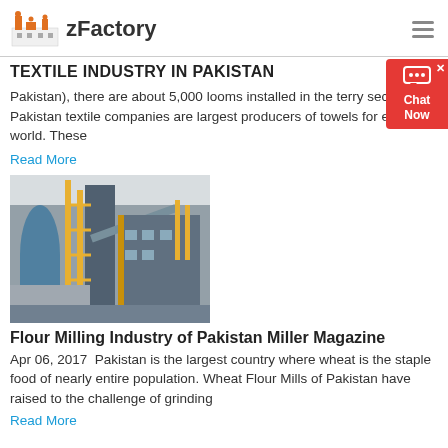zFactory
TEXTILE INDUSTRY IN PAKISTAN
Pakistan), there are about 5,000 looms installed in the terry sector. Pakistan textile companies are largest producers of towels for expo the world. These
Read More
[Figure (photo): Industrial factory or mill with tall structures, yellow scaffolding, conveyor belts and blue tanks/silos]
Flour Milling Industry of Pakistan Miller Magazine
Apr 06, 2017  Pakistan is the largest country where wheat is the staple food of nearly entire population. Wheat Flour Mills of Pakistan have raised to the challenge of grinding
Read More